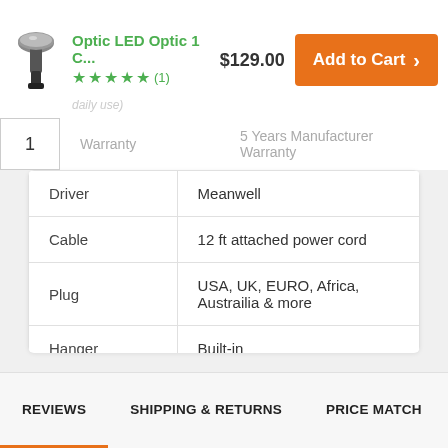[Figure (photo): Small LED grow light product image, black cylindrical fixture]
Optic LED Optic 1 C...
★★★★★ (1)
$129.00
Add to Cart >
daily use)
1
Warranty    5 Years Manufacturer Warranty
|  |  |
| --- | --- |
| Driver | Meanwell |
| Cable | 12 ft attached power cord |
| Plug | USA, UK, EURO, Africa, Austrailia & more |
| Hanger | Built-in |
REVIEWS
SHIPPING & RETURNS
PRICE MATCH